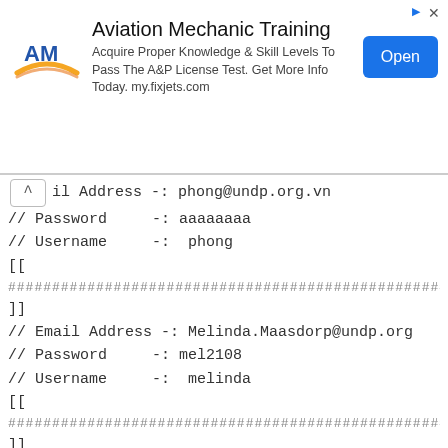[Figure (screenshot): Advertisement banner for Aviation Mechanic Training by AM (my.fixjets.com) with logo, descriptive text, and Open button]
// Email Address -: phong@undp.org.vn
// Password    -: aaaaaaaa
// Username    -:  phong
[[
###############################################################
]]
// Email Address -: Melinda.Maasdorp@undp.org
// Password    -: mel2108
// Username    -:  melinda
[[
###############################################################
]]
// Email Address -: paul.hulshoff@undp.org
// Password    -: mtasha
// Username    -:  paulhulshoff
[[
###############################################################